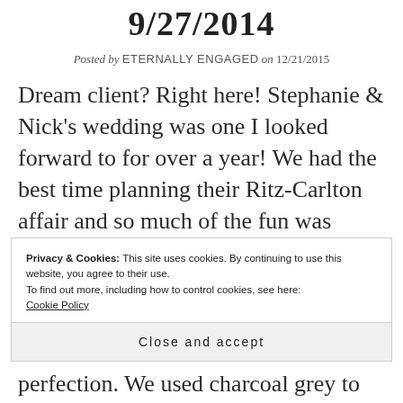9/27/2014
Posted by ETERNALLY ENGAGED on 12/21/2015
Dream client? Right here! Stephanie & Nick's wedding was one I looked forward to for over a year! We had the best time planning their Ritz-Carlton affair and so much of the fun was getting to know both of their amazing
Privacy & Cookies: This site uses cookies. By continuing to use this website, you agree to their use.
To find out more, including how to control cookies, see here:
Cookie Policy
Close and accept
perfection. We used charcoal grey to